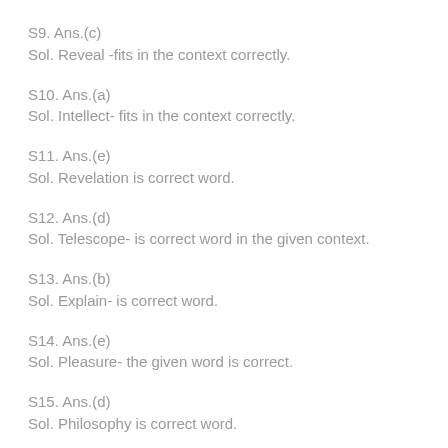S9. Ans.(c)
Sol. Reveal -fits in the context correctly.
S10. Ans.(a)
Sol. Intellect- fits in the context correctly.
S11. Ans.(e)
Sol. Revelation is correct word.
S12. Ans.(d)
Sol. Telescope- is correct word in the given context.
S13. Ans.(b)
Sol. Explain- is correct word.
S14. Ans.(e)
Sol. Pleasure- the given word is correct.
S15. Ans.(d)
Sol. Philosophy is correct word.